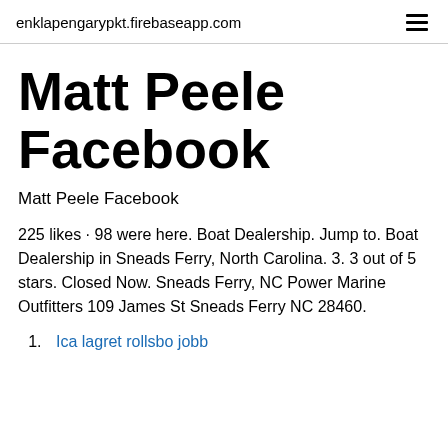enklapengarypkt.firebaseapp.com
Matt Peele Facebook
Matt Peele Facebook
225 likes · 98 were here. Boat Dealership. Jump to. Boat Dealership in Sneads Ferry, North Carolina. 3. 3 out of 5 stars. Closed Now. Sneads Ferry, NC Power Marine Outfitters 109 James St Sneads Ferry NC 28460.
Ica lagret rollsbo jobb